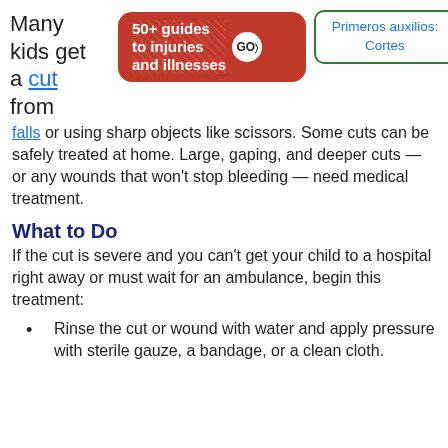Many kids get a cut from falls or using sharp objects like scissors. Some cuts can be safely treated at home. Large, gaping, and deeper cuts — or any wounds that won't stop bleeding — need medical treatment.
[Figure (infographic): Red rounded rectangle badge reading '50+ guides to injuries and illnesses' with a GO arrow circle button]
Primeros auxilios: Cortes
What to Do
If the cut is severe and you can't get your child to a hospital right away or must wait for an ambulance, begin this treatment:
Rinse the cut or wound with water and apply pressure with sterile gauze, a bandage, or a clean cloth.